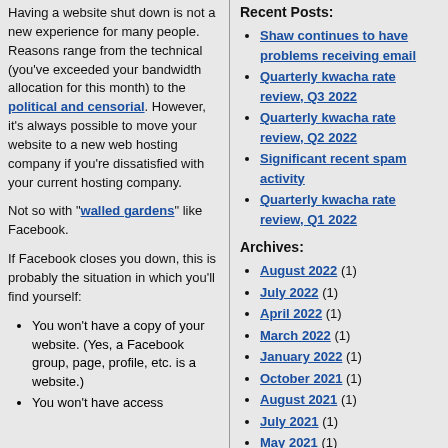Having a website shut down is not a new experience for many people. Reasons range from the technical (you've exceeded your bandwidth allocation for this month) to the political and censorial. However, it's always possible to move your website to a new web hosting company if you're dissatisfied with your current hosting company.
Not so with "walled gardens" like Facebook.
If Facebook closes you down, this is probably the situation in which you'll find yourself:
You won't have a copy of your website. (Yes, a Facebook group, page, profile, etc. is a website.)
You won't have access
Recent Posts:
Shaw continues to have problems receiving email
Quarterly kwacha rate review, Q3 2022
Quarterly kwacha rate review, Q2 2022
Significant recent spam activity
Quarterly kwacha rate review, Q1 2022
Archives:
August 2022 (1)
July 2022 (1)
April 2022 (1)
March 2022 (1)
January 2022 (1)
October 2021 (1)
August 2021 (1)
July 2021 (1)
May 2021 (1)
April 2021 (3)
January 2021 (2)
December 2020 (2)
November 2020 (1)
October 2020 (1)
September 2020 (1)